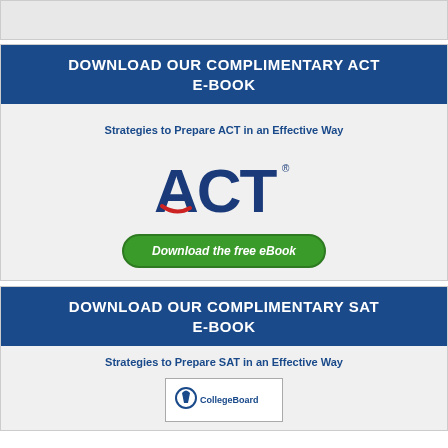[Figure (other): Gray top bar area (partial content from page above)]
DOWNLOAD OUR COMPLIMENTARY ACT E-BOOK
Strategies to Prepare ACT in an Effective Way
[Figure (logo): ACT logo with red swoosh under the A]
Download the free eBook
DOWNLOAD OUR COMPLIMENTARY SAT E-BOOK
Strategies to Prepare SAT in an Effective Way
[Figure (logo): College Board logo (partial, bottom of page)]